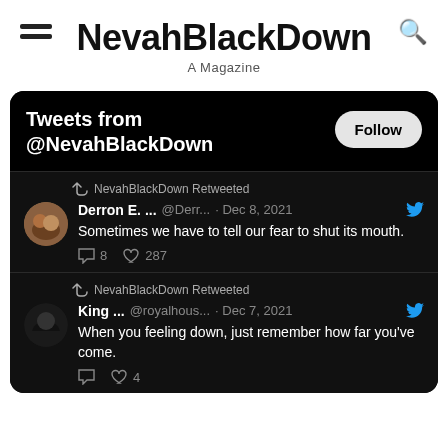NevahBlackDown — A Magazine
[Figure (screenshot): Twitter/X widget embed showing Tweets from @NevahBlackDown. Two retweeted posts: 1) Derron E. @Derr... Dec 8 2021: 'Sometimes we have to tell our fear to shut its mouth.' 8 replies 287 likes. 2) King ... @royalhous... Dec 7 2021: 'When you feeling down, just remember how far you've come.' 4 likes.]